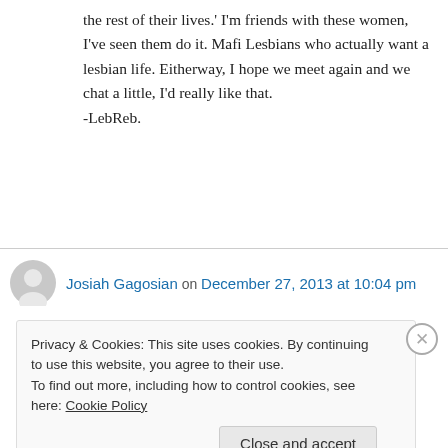the rest of their lives.' I'm friends with these women, I've seen them do it. Mafi Lesbians who actually want a lesbian life. Eitherway, I hope we meet again and we chat a little, I'd really like that.
-LebReb.
↳ Reply
Josiah Gagosian on December 27, 2013 at 10:04 pm
Privacy & Cookies: This site uses cookies. By continuing to use this website, you agree to their use.
To find out more, including how to control cookies, see here: Cookie Policy
Close and accept